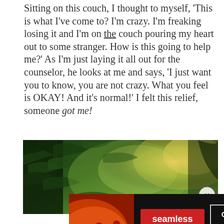Sitting on this couch, I thought to myself, 'This is what I've come to? I'm crazy. I'm freaking losing it and I'm on the couch pouring my heart out to some stranger. How is this going to help me?' As I'm just laying it all out for the counselor, he looks at me and says, 'I just want you to know, you are not crazy. What you feel is OKAY! And it's normal!' I felt this relief, someone got me!
[Figure (photo): Forest scene with pine trees and bright sunlight filtering through branches, with a close button (X) in the bottom-right corner]
[Figure (screenshot): Seamless food delivery advertisement banner showing pizza on the left, 'seamless' red logo in the center, and 'ORDER NOW' button on the right, on a dark background]